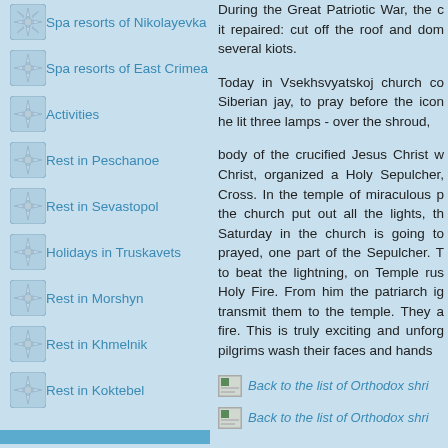Spa resorts of Nikolayevka
Spa resorts of East Crimea
Activities
Rest in Peschanoe
Rest in Sevastopol
Holidays in Truskavets
Rest in Morshyn
Rest in Khmelnik
Rest in Koktebel
During the Great Patriotic War, the church suffered greatly, but later it repaired: cut off the roof and dome, removed the iconostasis and several kiots.
Today in Vsekhsvyatskoj church conducts services. You can, like a Siberian jay, to pray before the icons and the shroud. In addition, he lit three lamps - over the shroud,
body of the crucified Jesus Christ which is embroidered image of Christ, organized a Holy Sepulcher, as well as the particles of the Cross. In the temple of miraculous p the church put out all the lights, th Saturday in the church is going to prayed, one part of the Sepulcher. T to beat the lightning, on Temple rus Holy Fire. From him the patriarch ig transmit them to the temple. They a fire. This is truly exciting and unforg pilgrims wash their faces and hands
Back to the list of Orthodox shri
Back to the list of Orthodox shri